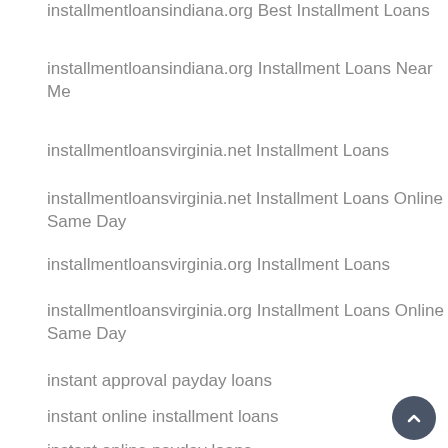installmentloansindiana.org Best Installment Loans
installmentloansindiana.org Installment Loans Near Me
installmentloansvirginia.net Installment Loans
installmentloansvirginia.net Installment Loans Online Same Day
installmentloansvirginia.org Installment Loans
installmentloansvirginia.org Installment Loans Online Same Day
instant approval payday loans
instant online installment loans
instant online payday loans